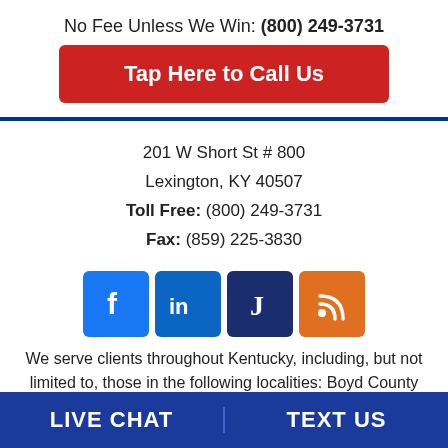No Fee Unless We Win: (800) 249-3731
Tap Here to Call Us
201 W Short St # 800
Lexington, KY 40507
Toll Free: (800) 249-3731
Fax: (859) 225-3830
[Figure (logo): Social media icons: Facebook, LinkedIn, Justia, RSS feed]
We serve clients throughout Kentucky, including, but not limited to, those in the following localities: Boyd County including Ashland; Fayette County including
LIVE CHAT   TEXT US